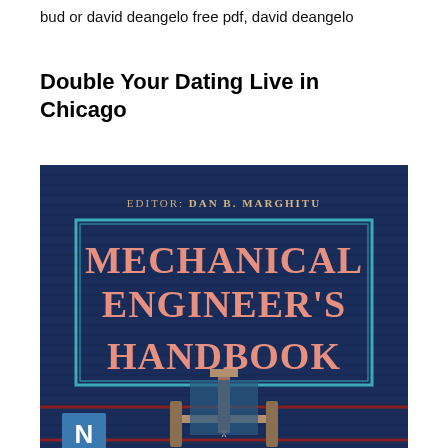bud or david deangelo free pdf, david deangelo
Double Your Dating Live in Chicago
[Figure (illustration): Book cover of 'Mechanical Engineer's Handbook', Editor: Dan B. Marghitu. Dark navy blue cover with horizontal stripe texture. A teal-bordered rectangle contains the title in large salmon/orange serif text. At the bottom, a mechanical engineering diagram showing a shaft/bearing assembly with a stylized 'N' logo in a blue square on the left.]